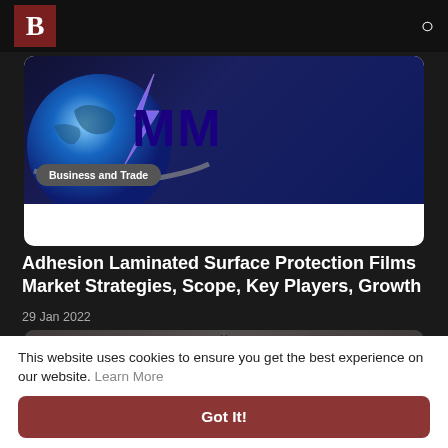B [logo] [search icon]
[Figure (logo): MMR market research logo with blue globe and large blue MMR text on dark background]
Business and Trade
Adhesion Laminated Surface Protection Films Market Strategies, Scope, Key Players, Growth
29 Jan 2022
[Figure (photo): Dark action scene showing an armored/soldier figure with cables against stormy sky]
This website uses cookies to ensure you get the best experience on our website. Learn More
Got It!